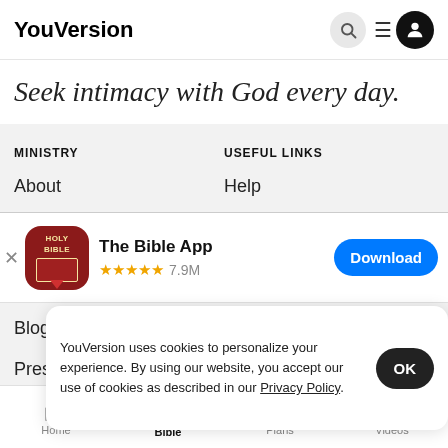YouVersion
Seek intimacy with God every day.
MINISTRY
USEFUL LINKS
About
Help
[Figure (screenshot): The Bible App app store banner with Holy Bible icon, 5-star rating, 7.9M reviews, and blue Download button]
Blog
Press
YouVersion uses cookies to personalize your experience. By using our website, you accept our use of cookies as described in our Privacy Policy.
Home  Bible  Plans  Videos